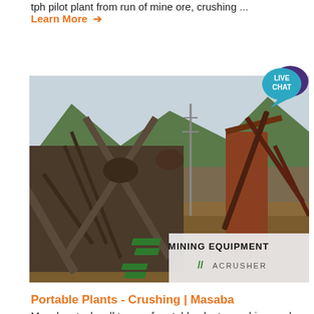tph pilot plant from run of mine ore, crushing ...
Learn More →
[Figure (photo): Mining equipment / crushing plant with conveyor belts and machinery at an outdoor industrial site with mountains in the background. Watermark in bottom-right: MINING EQUIPMENT ACRUSHER with green diagonal stripes logo.]
[Figure (infographic): Live Chat speech bubble icon in teal/dark blue colors in the top-right area of the page.]
Portable Plants - Crushing | Masaba
Masaba stocks all types of portable plants crushing: rock crushing plants, cone crushing, single crusher operation, jaw